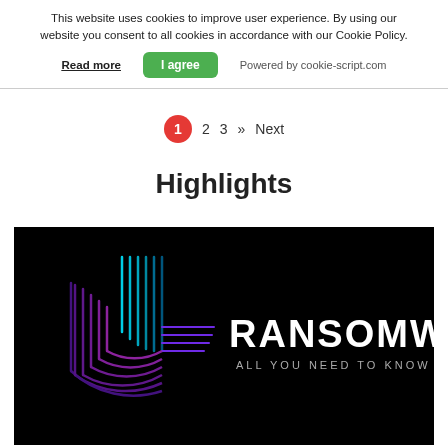This website uses cookies to improve user experience. By using our website you consent to all cookies in accordance with our Cookie Policy.
Read more  I agree  Powered by cookie-script.com
1  2  3  »  Next
Highlights
[Figure (screenshot): Dark background image with a stylized purple/blue glowing 'd' logo on the left and white text 'RANSOMWARE' in large bold letters with subtitle 'ALL YOU NEED TO KNOW IN 2022' beneath it.]